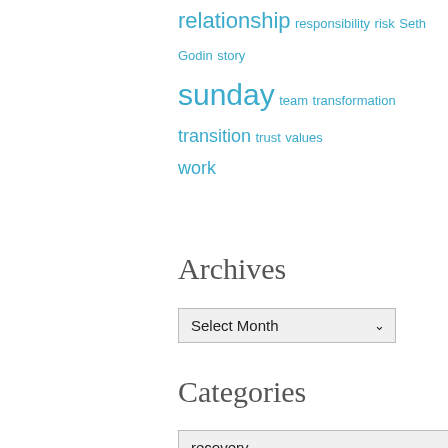relationship responsibility risk Seth Godin story sunday team transformation transition trust values work
Archives
[Figure (screenshot): A dropdown select widget showing 'Select Month' with a chevron arrow]
Categories
[Figure (screenshot): A dropdown select widget showing 'recovery' with a chevron arrow]
[Figure (logo): Twitter bird logo and LinkedIn 'in' logo side by side in blue]